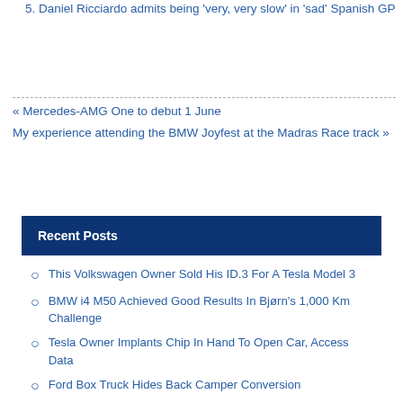5. Daniel Ricciardo admits being 'very, very slow' in 'sad' Spanish GP
« Mercedes-AMG One to debut 1 June
My experience attending the BMW Joyfest at the Madras Race track »
Recent Posts
This Volkswagen Owner Sold His ID.3 For A Tesla Model 3
BMW i4 M50 Achieved Good Results In Bjørn's 1,000 Km Challenge
Tesla Owner Implants Chip In Hand To Open Car, Access Data
Ford Box Truck Hides Back Camper Conversion